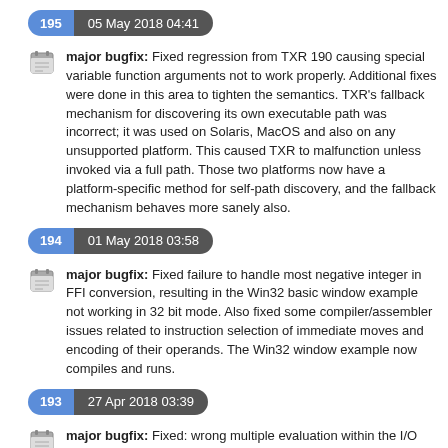195  05 May 2018 04:41
major bugfix: Fixed regression from TXR 190 causing special variable function arguments not to work properly. Additional fixes were done in this area to tighten the semantics. TXR's fallback mechanism for discovering its own executable path was incorrect; it was used on Solaris, MacOS and also on any unsupported platform. This caused TXR to malfunction unless invoked via a full path. Those two platforms now have a platform-specific method for self-path discovery, and the fallback mechanism behaves more sanely also.
194  01 May 2018 03:58
major bugfix: Fixed failure to handle most negative integer in FFI conversion, resulting in the Win32 basic window example not working in 32 bit mode. Also fixed some compiler/assembler issues related to instruction selection of immediate moves and encoding of their operands. The Win32 window example now compiles and runs.
193  27 Apr 2018 03:39
major bugfix: Fixed: wrong multiple evaluation within the I/O redirection operators of the awk macro; compiler mistranslating (return x) forms; autoload issues of compiled library modules. Features: load-time operator for easily embedding statically computed data into code as if it were a literal; code generation improvements for destructuring and string quasiliterals; optimization away of block forms; big...